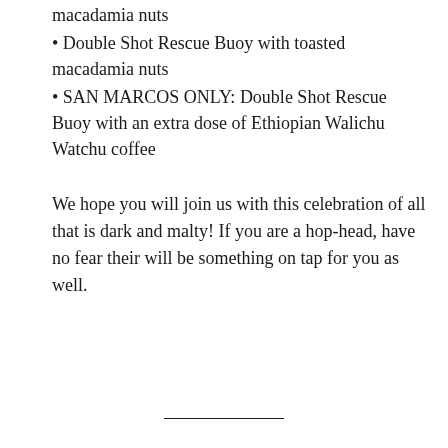macadamia nuts
Double Shot Rescue Buoy with toasted macadamia nuts
SAN MARCOS ONLY: Double Shot Rescue Buoy with an extra dose of Ethiopian Walichu Watchu coffee
We hope you will join us with this celebration of all that is dark and malty! If you are a hop-head, have no fear their will be something on tap for you as well.